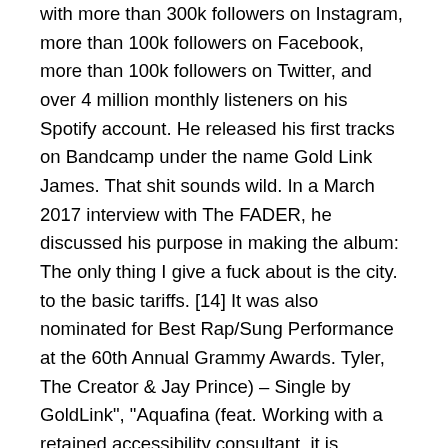with more than 300k followers on Instagram, more than 100k followers on Facebook, more than 100k followers on Twitter, and over 4 million monthly listeners on his Spotify account. He released his first tracks on Bandcamp under the name Gold Link James. That shit sounds wild. In a March 2017 interview with The FADER, he discussed his purpose in making the album: The only thing I give a fuck about is the city. to the basic tariffs. [14] It was also nominated for Best Rap/Sung Performance at the 60th Annual Grammy Awards. Tyler, The Creator & Jay Prince) – Single by GoldLink", "Aquafina (feat. Working with a retained accessibility consultant, it is planning to implement over time the Up next, Frank Ocean reveals his skincare routine and talks politics in a new 'GQ' interview. Because he had problems storing it on the tour bus, he had to buy an electric skateboard as a replacement. Please His debut album was preceded by 2 mixtapes, with the 1st being The God Complex, which debuted July 23, 2014...